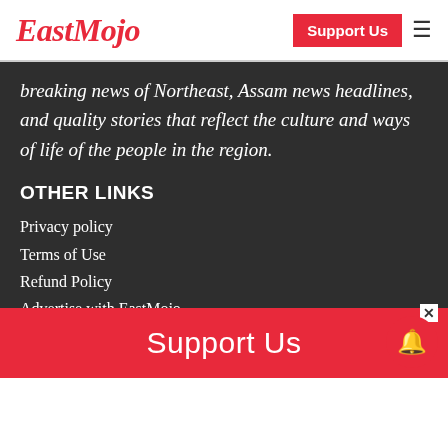EastMojo | Support Us
breaking news of Northeast, Assam news headlines, and quality stories that reflect the culture and ways of life of the people in the region.
OTHER LINKS
Privacy policy
Terms of Use
Refund Policy
Advertise with EastMojo
Contact Us
Support Us